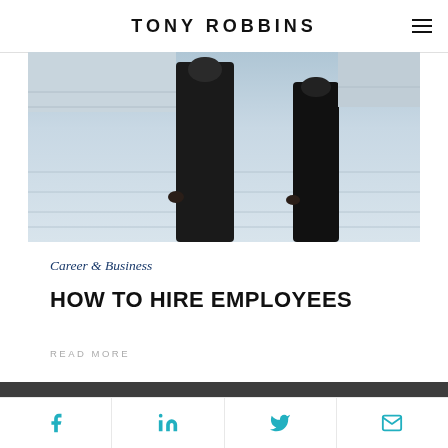TONY ROBBINS
[Figure (photo): Two people in black clothing standing on a tiled outdoor plaza, photographed from mid-torso down]
Career & Business
HOW TO HIRE EMPLOYEES
READ MORE
This website uses cookies to personalize your experience and target advertising.. By continuing to use our website, you accept the
Okay, thanks
Facebook LinkedIn Twitter Email social share icons